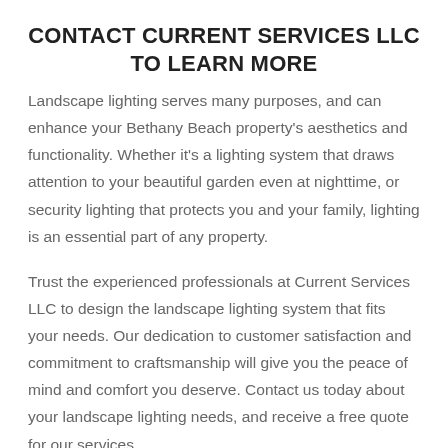CONTACT CURRENT SERVICES LLC TO LEARN MORE
Landscape lighting serves many purposes, and can enhance your Bethany Beach property's aesthetics and functionality. Whether it's a lighting system that draws attention to your beautiful garden even at nighttime, or security lighting that protects you and your family, lighting is an essential part of any property.
Trust the experienced professionals at Current Services LLC to design the landscape lighting system that fits your needs. Our dedication to customer satisfaction and commitment to craftsmanship will give you the peace of mind and comfort you deserve. Contact us today about your landscape lighting needs, and receive a free quote for our services.